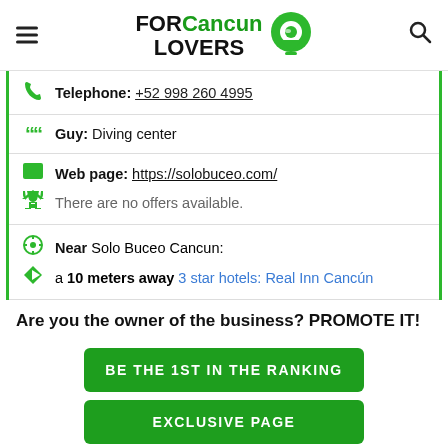FOR Cancun LOVERS
Telephone: +52 998 260 4995
Guy: Diving center
Web page: https://solobuceo.com/
There are no offers available.
Near Solo Buceo Cancun:
a 10 meters away 3 star hotels: Real Inn Cancún
Are you the owner of the business? PROMOTE IT!
BE THE 1ST IN THE RANKING
EXCLUSIVE PAGE